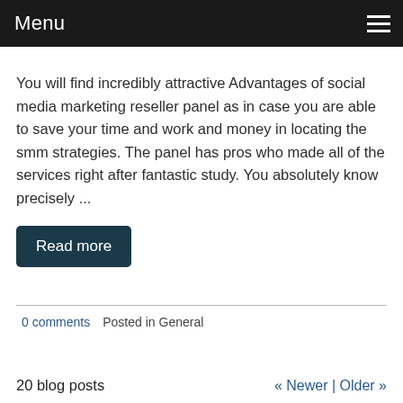Menu
You will find incredibly attractive Advantages of social media marketing reseller panel as in case you are able to save your time and work and money in locating the smm strategies. The panel has pros who made all of the services right after fantastic study. You absolutely know precisely ...
Read more
0 comments   Posted in General
20 blog posts   « Newer | Older »